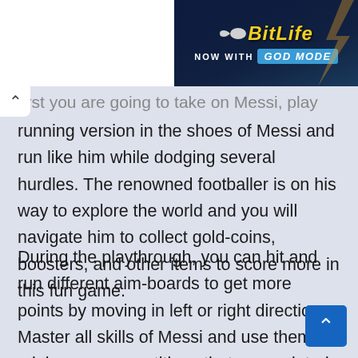[Figure (other): BitLife mobile game advertisement banner — dark blue background, BitLife logo in yellow italic bold text with sperm icon, 'NOW WITH GOD MODE' text, orange/yellow hand graphic on right]
...first you are going to take on Messi, play the running version in the shoes of Messi and run like him while dodging several hurdles. The renowned footballer is on his way to explore the world and you will navigate him to collect gold-coins, boosters, and other items to score more in this fun game.
During the playthrough, you can hit and run different aim-boards to get more points by moving in left or right directions. Master all skills of Messi and use them in mini-game competitions that are updated from time to time. A number of challenges are waiting